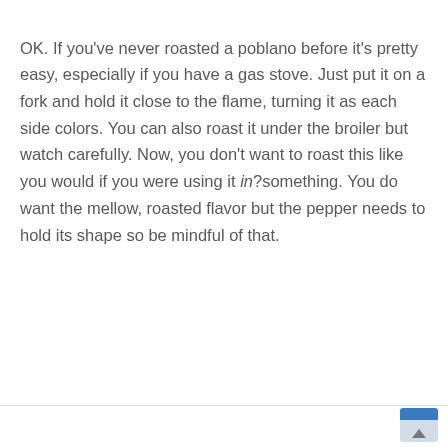OK. If you've never roasted a poblano before it's pretty easy, especially if you have a gas stove. Just put it on a fork and hold it close to the flame, turning it as each side colors. You can also roast it under the broiler but watch carefully. Now, you don't want to roast this like you would if you were using it in?something. You do want the mellow, roasted flavor but the pepper needs to hold its shape so be mindful of that.